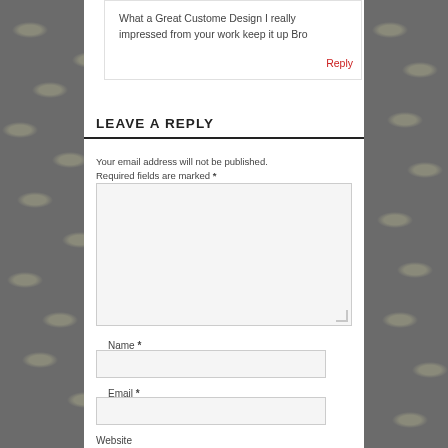What a Great Custome Design I really impressed from your work keep it up Bro
Reply
LEAVE A REPLY
Your email address will not be published. Required fields are marked *
Name *
Email *
Website